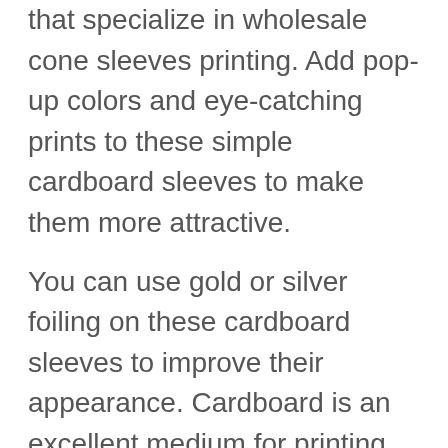that specialize in wholesale cone sleeves printing. Add pop-up colors and eye-catching prints to these simple cardboard sleeves to make them more attractive.
You can use gold or silver foiling on these cardboard sleeves to improve their appearance. Cardboard is an excellent medium for printing various inks and patterns. This ensures that you can print something on these sleeves to pique the consumer's interest. Additionally, you can customize cones to match the style of any case. Ice creams are well-known as desserts at children's birthday parties.
As a result, you can use customized packaging